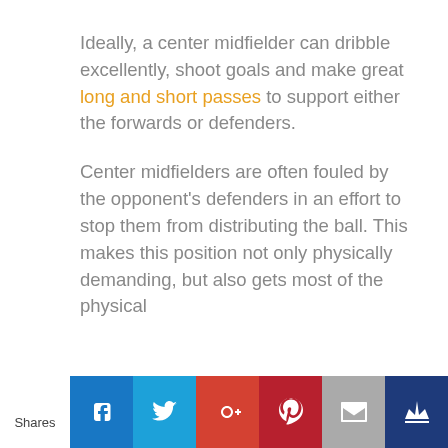Ideally, a center midfielder can dribble excellently, shoot goals and make great long and short passes to support either the forwards or defenders.

Center midfielders are often fouled by the opponent's defenders in an effort to stop them from distributing the ball. This makes this position not only physically demanding, but also gets most of the physical
Shares | Facebook | Twitter | Google+ | Pinterest | Email | Crown